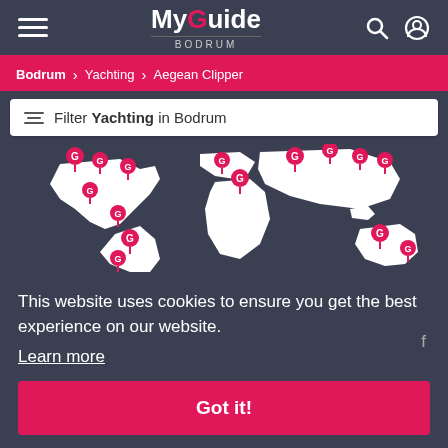My Guide BODRUM
Bodrum > Yachting > Aegean Clipper
Filter Yachting in Bodrum
[Figure (map): World map with pink location pin markers (MyGuide G icons) scattered across continents]
This website uses cookies to ensure you get the best experience on our website.
Learn more
Got it!
to find out more then click for more info about our Website Business